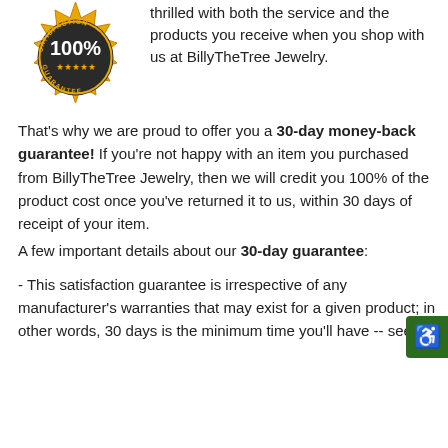[Figure (logo): Gold satisfaction guarantee badge with '100%' text and 'SATISFACTION GUARANTEE' around the edge, with stars at the bottom]
thrilled with both the service and the products you receive when you shop with us at BillyTheTree Jewelry. That's why we are proud to offer you a 30-day money-back guarantee! If you're not happy with an item you purchased from BillyTheTree Jewelry, then we will credit you 100% of the product cost once you've returned it to us, within 30 days of receipt of your item.
A few important details about our 30-day guarantee:
- This satisfaction guarantee is irrespective of any manufacturer's warranties that may exist for a given product; in other words, 30 days is the minimum time you'll have -- see